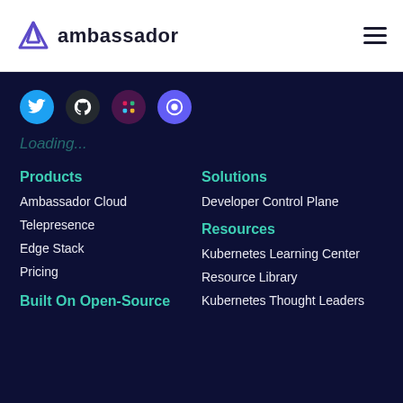ambassador
[Figure (illustration): Social media icons: Twitter (blue), GitHub (dark), Slack (multicolor), Loom (red/white)]
Loading...
Products
Ambassador Cloud
Telepresence
Edge Stack
Pricing
Solutions
Developer Control Plane
Resources
Kubernetes Learning Center
Resource Library
Kubernetes Thought Leaders
Built On Open-Source